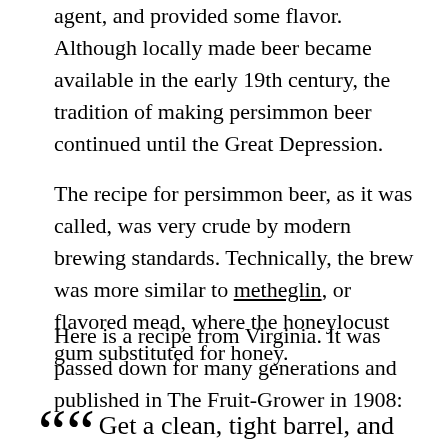agent, and provided some flavor. Although locally made beer became available in the early 19th century, the tradition of making persimmon beer continued until the Great Depression.
The recipe for persimmon beer, as it was called, was very crude by modern brewing standards. Technically, the brew was more similar to metheglin, or flavored mead, where the honeylocust gum substituted for honey.
Here is a recipe from Virginia. It was passed down for many generations and published in The Fruit-Grower in 1908:
““ Get a clean, tight barrel, and